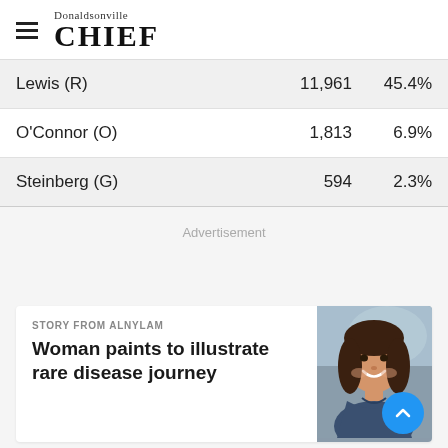Donaldsonville CHIEF
| Candidate | Votes | Pct |
| --- | --- | --- |
| Lewis (R) | 11,961 | 45.4% |
| O'Connor (O) | 1,813 | 6.9% |
| Steinberg (G) | 594 | 2.3% |
Advertisement
STORY FROM ALNYLAM
Woman paints to illustrate rare disease journey
[Figure (photo): Photo of a smiling young woman with long dark hair, wearing a denim jacket, with a blurred outdoor background]